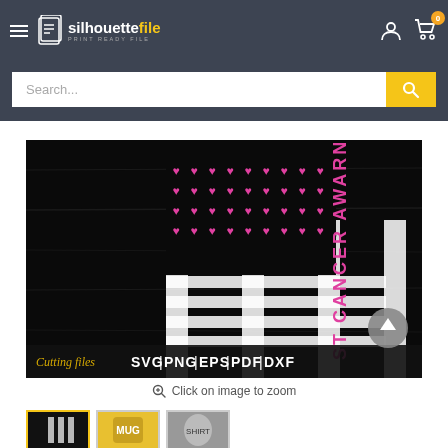silhouettefile — PRINT READY FILE
[Figure (screenshot): Website product page for silhouettefile.com showing a breast cancer awareness SVG design with an American flag made of pink ribbons and birch tree stripes with text 'ST CANCER AWARNESS', available in SVG, PNG, EPS, PDF, DXF cutting files formats]
Click on image to zoom
[Figure (photo): Three product thumbnail images showing the breast cancer awareness design on different products]